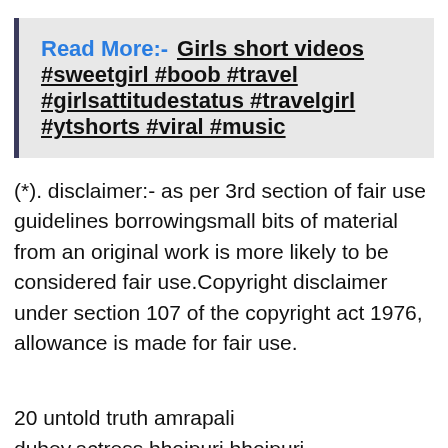Read More:- Girls short videos #sweetgirl #boob #travel #girlsattitudestatus #travelgirl #ytshorts #viral #music
(*). disclaimer:- as per 3rd section of fair use guidelines borrowingsmall bits of material from an original work is more likely to be considered fair use.Copyright disclaimer under section 107 of the copyright act 1976, allowance is made for fair use.
20 untold truth amrapali dubey,actress,bhojpuri,bhojpuri actress,amrapali,amrapali dubey, aamrapali dubey, aamrapali,amrapali dubey sexy amrapali dubey sex amrapali dubey hot